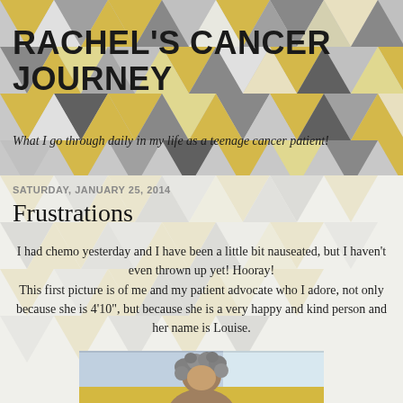RACHEL'S CANCER JOURNEY
What I go through daily in my life as a teenage cancer patient!
SATURDAY, JANUARY 25, 2014
Frustrations
I had chemo yesterday and I have been a little bit nauseated, but I haven't even thrown up yet! Hooray! This first picture is of me and my patient advocate who I adore, not only because she is 4'10", but because she is a very happy and kind person and her name is Louise.
[Figure (photo): Photo of a person with curly gray hair, partially visible at bottom of page, seated indoors near a window]